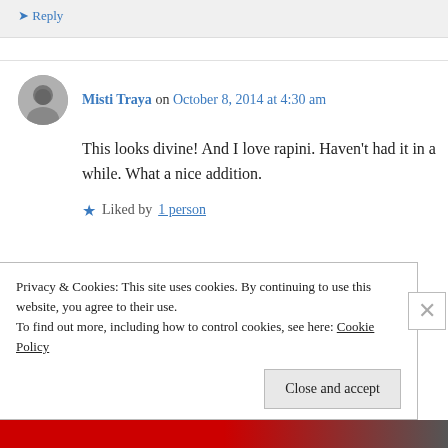↳ Reply
Misti Traya on October 8, 2014 at 4:30 am
This looks divine! And I love rapini. Haven't had it in a while. What a nice addition.
★ Liked by 1 person
Privacy & Cookies: This site uses cookies. By continuing to use this website, you agree to their use.
To find out more, including how to control cookies, see here: Cookie Policy
Close and accept